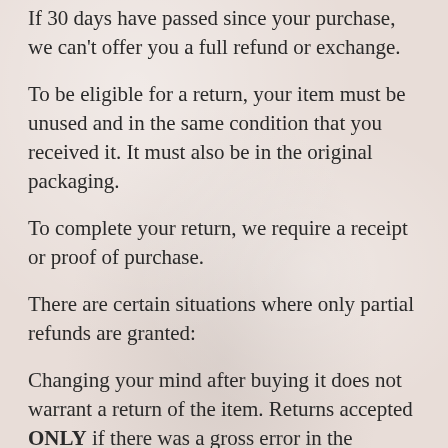If 30 days have passed since your purchase, we can't offer you a full refund or exchange.
To be eligible for a return, your item must be unused and in the same condition that you received it. It must also be in the original packaging.
To complete your return, we require a receipt or proof of purchase.
There are certain situations where only partial refunds are granted:
Changing your mind after buying it does not warrant a return of the item. Returns accepted ONLY if there was a gross error in the description. Then, only the item amount will be refunded. Shipping is not refundable. It is a “service” from the shipper. You agree to pay for, and I am acting only as your agent to get the package to the shipper. The shipper gets the shipping money, not me. I cannot refund what I do not get or have. Besides, the shipping is a “service” separate from the item you